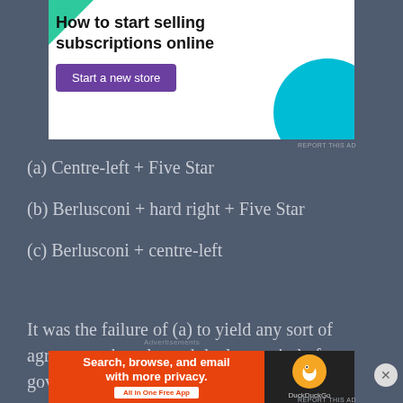[Figure (other): Advertisement banner: 'How to start selling subscriptions online' with a purple 'Start a new store' button, green triangle top-left, teal circle bottom-right, white background.]
(a) Centre-left + Five Star
(b) Berlusconi + hard right + Five Star
(c) Berlusconi + centre-left
It was the failure of (a) to yield any sort of agreement that plagued the last period of government-formation,
[Figure (other): Advertisement banner for DuckDuckGo: 'Search, browse, and email with more privacy. All in One Free App' on orange background, DuckDuckGo logo on dark background.]